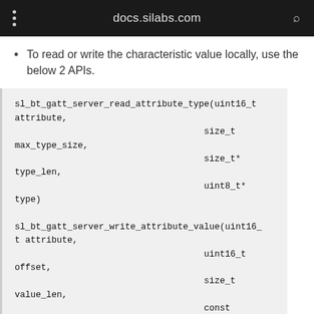docs.silabs.com
To read or write the characteristic value locally, use the below 2 APIs.
sl_bt_gatt_server_read_attribute_type(uint16_t attribute,
                                    size_t
max_type_size,
                                    size_t*
type_len,
                                    uint8_t*
type)

sl_bt_gatt_server_write_attribute_value(uint16_
t attribute,
                                    uint16_t
offset,
                                    size_t
value_len,
                                    const
uint8_t* value)